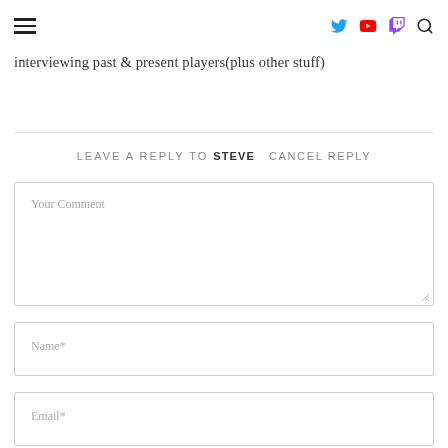☰ [navigation icons: Twitter, YouTube, Twitch, Search]
interviewing past & present players(plus other stuff)
LEAVE A REPLY TO STEVE  CANCEL REPLY
Your Comment
Name*
Email*